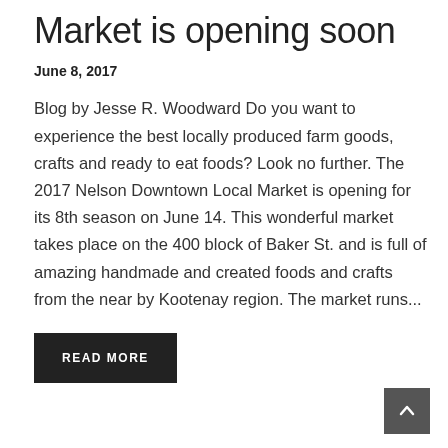Market is opening soon
June 8, 2017
Blog by Jesse R. Woodward Do you want to experience the best locally produced farm goods, crafts and ready to eat foods? Look no further. The 2017 Nelson Downtown Local Market is opening for its 8th season on June 14. This wonderful market takes place on the 400 block of Baker St. and is full of amazing handmade and created foods and crafts from the near by Kootenay region. The market runs...
READ MORE